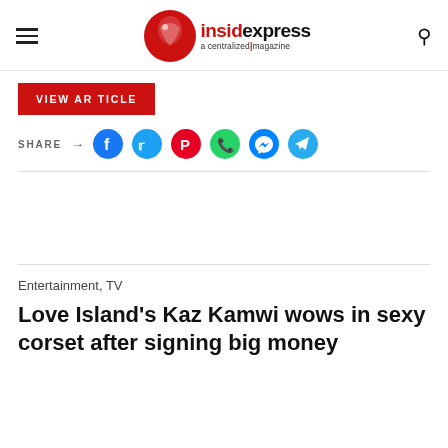insidexpress a centralized magazine
VIEW ARTICLE
SHARE → (social icons: Facebook, Twitter, Pinterest, WhatsApp, Messenger, Telegram)
Entertainment, TV
Love Island's Kaz Kamwi wows in sexy corset after signing big money